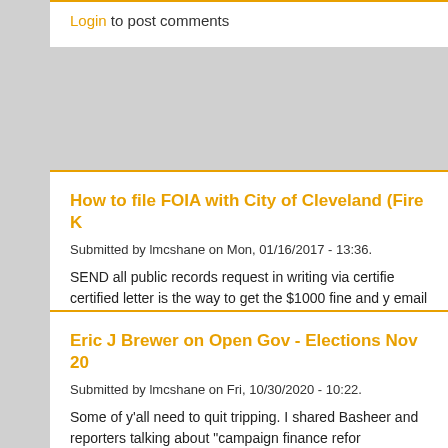Login to post comments
How to file FOIA with City of Cleveland (Fire K...
Submitted by lmcshane on Mon, 01/16/2017 - 13:36.
SEND all public records request in writing via certifie... certified letter is the way to get the $1000 fine and y... email with another request. If after 6 days and no re...
Login to post comments
Eric J Brewer on Open Gov - Elections Nov 20...
Submitted by lmcshane on Fri, 10/30/2020 - 10:22.
Some of y'all need to quit tripping. I shared Basheer... and reporters talking about "campaign finance refor... discussion. I know some of y'all are new to civic par... government." Records are public pursuant to R.C. 1
Some of y'all Jones supporters thought I should sha...